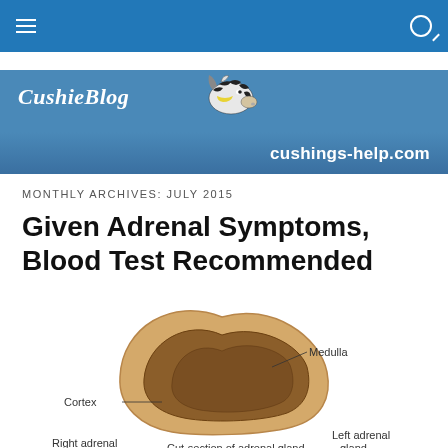CushieBlog — cushings-help.com
MONTHLY ARCHIVES: JULY 2015
Given Adrenal Symptoms, Blood Test Recommended
[Figure (illustration): Cross-section diagram of adrenal gland showing Cortex and Medulla, labeled 'Cut-section of adrenal gland', with partial labels for Right adrenal and Left adrenal gland at bottom]